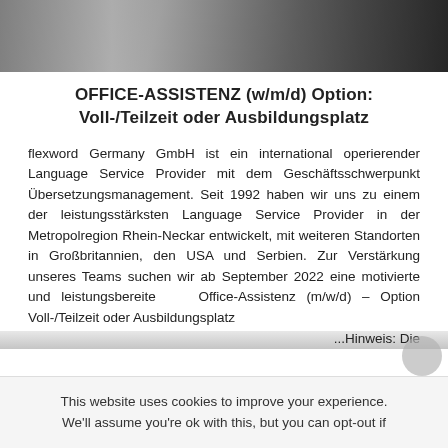[Figure (photo): Office scene photo banner at top of page showing desk/office environment]
OFFICE-ASSISTENZ (w/m/d) Option: Voll-/Teilzeit oder Ausbildungsplatz
flexword Germany GmbH ist ein international operierender Language Service Provider mit dem Geschäftsschwerpunkt Übersetzungsmanagement. Seit 1992 haben wir uns zu einem der leistungsstärksten Language Service Provider in der Metropolregion Rhein-Neckar entwickelt, mit weiteren Standorten in Großbritannien, den USA und Serbien. Zur Verstärkung unseres Teams suchen wir ab September 2022 eine motivierte und leistungsbereite    Office-Assistenz (m/w/d) – Option Voll-/Teilzeit oder Ausbildungsplatz                                                            ...Hinweis: Die
This website uses cookies to improve your experience. We'll assume you're ok with this, but you can opt-out if